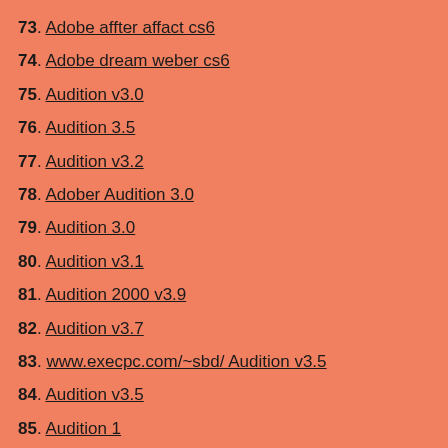73. Adobe affter affact cs6
74. Adobe dream weber cs6
75. Audition v3.0
76. Audition 3.5
77. Audition v3.2
78. Adober Audition 3.0
79. Audition 3.0
80. Audition v3.1
81. Audition 2000 v3.9
82. Audition v3.7
83. www.execpc.com/~sbd/ Audition v3.5
84. Audition v3.5
85. Audition 1